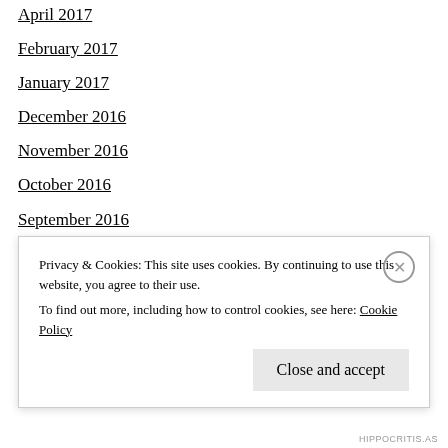April 2017
February 2017
January 2017
December 2016
November 2016
October 2016
September 2016
August 2016
July 2016
June 2016
Privacy & Cookies: This site uses cookies. By continuing to use this website, you agree to their use.
To find out more, including how to control cookies, see here: Cookie Policy
HIPPOCRITIS.AS